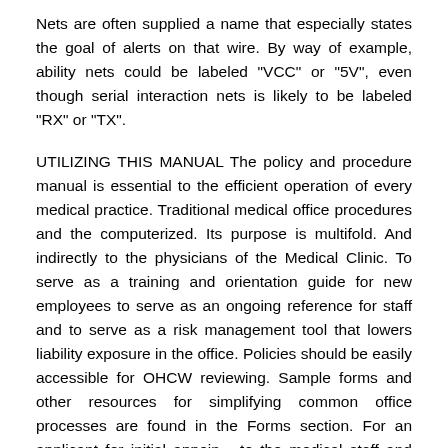Nets are often supplied a name that especially states the goal of alerts on that wire. By way of example, ability nets could be labeled "VCC" or "5V", even though serial interaction nets is likely to be labeled "RX" or "TX".
UTILIZING THIS MANUAL The policy and procedure manual is essential to the efficient operation of every medical practice. Traditional medical office procedures and the computerized. Its purpose is multifold. And indirectly to the physicians of the Medical Clinic. To serve as a training and orientation guide for new employees to serve as an ongoing reference for staff and to serve as a risk management tool that lowers liability exposure in the office. Policies should be easily accessible for OHCW reviewing. Sample forms and other resources for simplifying common office processes are found in the Forms section. For an applicant for initial appoin... to the medical staff and or...